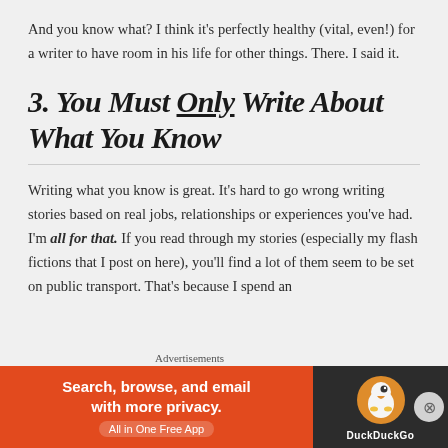And you know what? I think it’s perfectly healthy (vital, even!) for a writer to have room in his life for other things. There. I said it.
3. You Must Only Write About What You Know
Writing what you know is great. It’s hard to go wrong writing stories based on real jobs, relationships or experiences you’ve had. I’m all for that. If you read through my stories (especially my flash fictions that I post on here), you’ll find a lot of them seem to be set on public transport. That’s because I spend an
[Figure (screenshot): DuckDuckGo advertisement banner: orange background with text 'Search, browse, and email with more privacy. All in One Free App' on the left, and DuckDuckGo logo with duck icon on dark background on the right. Labeled 'Advertisements' above.]